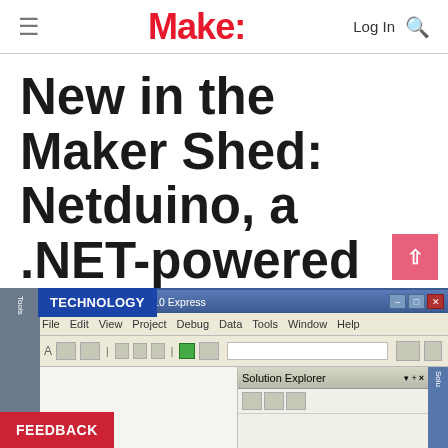Make:
New in the Maker Shed: Netduino, a .NET-powered open source electronics platform
[Figure (screenshot): Screenshot of Microsoft Visual C# 2010 Express IDE with Solution Explorer panel visible, with TECHNOLOGY badge overlay]
FEEDBACK